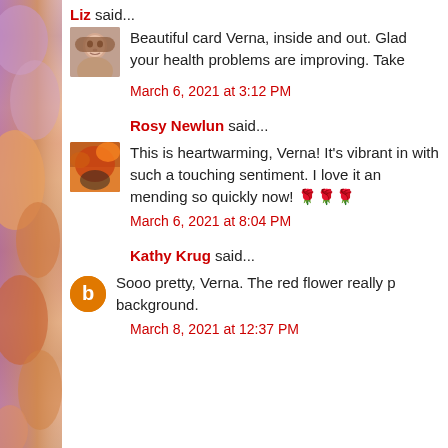Liz said...
Beautiful card Verna, inside and out. Glad your health problems are improving. Take
March 6, 2021 at 3:12 PM
Rosy Newlun said...
This is heartwarming, Verna! It's vibrant in with such a touching sentiment. I love it an mending so quickly now! 🌹🌹🌹
March 6, 2021 at 8:04 PM
Kathy Krug said...
Sooo pretty, Verna. The red flower really p background.
March 8, 2021 at 12:37 PM